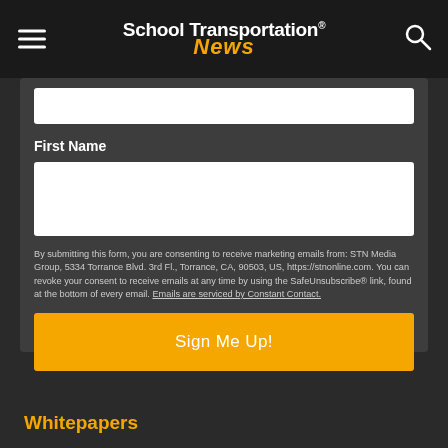School Transportation News
First Name
By submitting this form, you are consenting to receive marketing emails from: STN Media Group, 5334 Torrance Blvd. 3rd Fl., Torrance, CA, 90503, US, https://stnonline.com. You can revoke your consent to receive emails at any time by using the SafeUnsubscribe® link, found at the bottom of every email. Emails are serviced by Constant Contact.
Sign Me Up!
Whitepapers